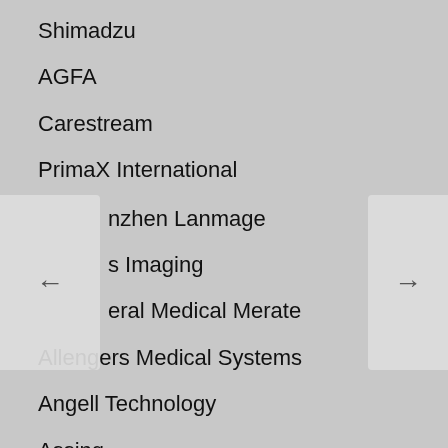Shimadzu
AGFA
Carestream
PrimaX International
nzhen Lanmage
s Imaging
General Medical Merate
Allengers Medical Systems
Angell Technology
Assing
BMI Biomedical International